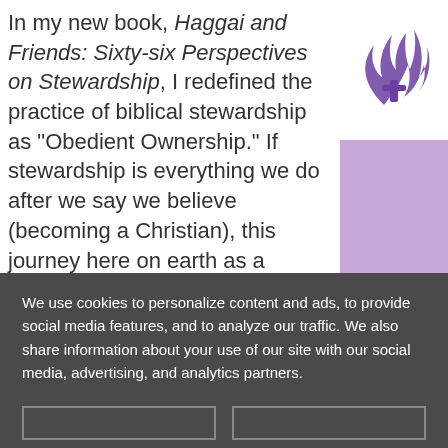In my new book, Haggai and Friends: Sixty-six Perspectives on Stewardship, I redefined the practice of biblical stewardship as "Obedient Ownership." If stewardship is everything we do after we say we believe (becoming a Christian), this journey here on earth as a steward is very important. It is easier to be a disobedient owner, than an obedient one. It is so easy to lose our way on this stewardship journey. Yes, God is concerned about how we manage our time, our talent, our treasure, our vocational call, our mission and our ministry, our children, our homes, our automobiles, all that the Ultimate Owner (God the Father) has entrusted us to manage here on earth.
[Figure (logo): Seventh-day Adventist Church logo — stylized flame/book icon in purple]
We use cookies to personalize content and ads, to provide social media features, and to analyze our traffic. We also share information about your use of our site with our social media, advertising, and analytics partners.